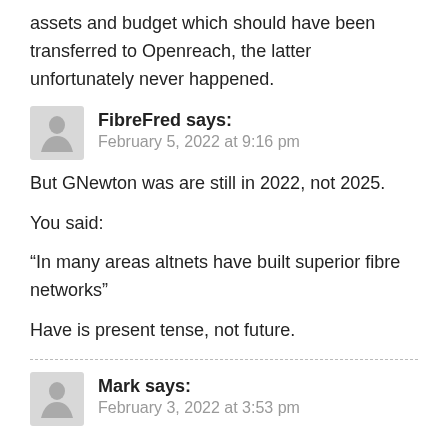assets and budget which should have been transferred to Openreach, the latter unfortunately never happened.
FibreFred says:
February 5, 2022 at 9:16 pm
But GNewton was are still in 2022, not 2025.
You said:
“In many areas altnets have built superior fibre networks”
Have is present tense, not future.
Mark says:
February 3, 2022 at 3:53 pm